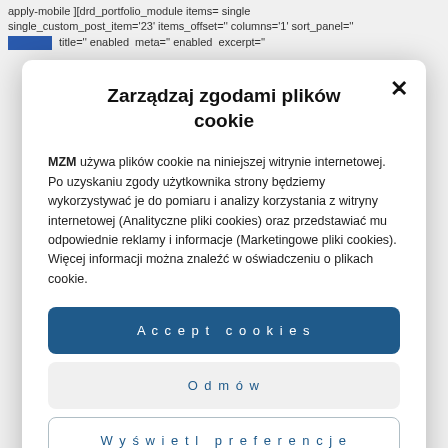apply-mobile ][drd_portfolio_module items= single single_custom_post_item='23' items_offset='' columns='1' sort_panel='' title='' enabled meta='' enabled excerpt=''
Zarządzaj zgodami plików cookie
MZM używa plików cookie na niniejszej witrynie internetowej. Po uzyskaniu zgody użytkownika strony będziemy wykorzystywać je do pomiaru i analizy korzystania z witryny internetowej (Analityczne pliki cookies) oraz przedstawiać mu odpowiednie reklamy i informacje (Marketingowe pliki cookies). Więcej informacji można znaleźć w oświadczeniu o plikach cookie.
Accept cookies
Odmów
Wyświetl preferencje